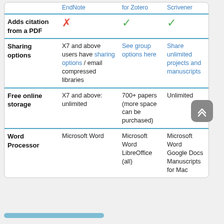|  | EndNote | for Zotero | Scrivener |
| --- | --- | --- | --- |
| Adds citation from a PDF | ✗ | ✓ | ✓ |
| Sharing options | X7 and above users have sharing options / email compressed libraries | See group options here | Share unlimited projects and manuscripts |
| Free online storage | X7 and above: unlimited | 700+ papers (more space can be purchased) | Unlimited |
| Word Processor | Microsoft Word | Microsoft Word LibreOffice (all) | Microsoft Word Google Docs Manuscripts for Mac |